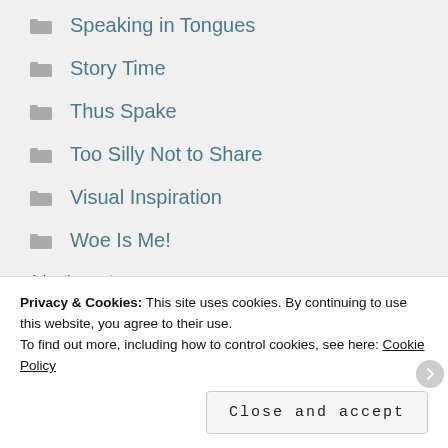Speaking in Tongues
Story Time
Thus Spake
Too Silly Not to Share
Visual Inspiration
Woe Is Me!
Advertisements
Business in the front
Privacy & Cookies: This site uses cookies. By continuing to use this website, you agree to their use.
To find out more, including how to control cookies, see here: Cookie Policy
Close and accept